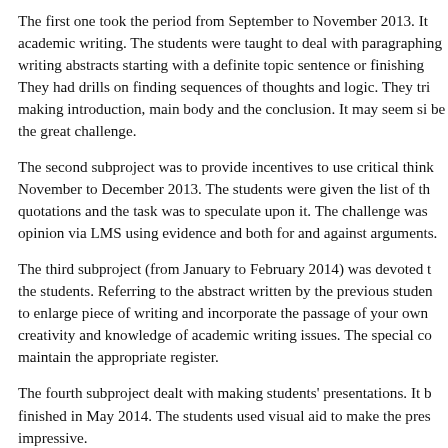The first one took the period from September to November 2013. It academic writing. The students were taught to deal with paragraphing writing abstracts starting with a definite topic sentence or finishing They had drills on finding sequences of thoughts and logic. They tri making introduction, main body and the conclusion. It may seem si be the great challenge.
The second subproject was to provide incentives to use critical think November to December 2013. The students were given the list of th quotations and the task was to speculate upon it. The challenge was opinion via LMS using evidence and both for and against arguments.
The third subproject (from January to February 2014) was devoted t the students. Referring to the abstract written by the previous studen to enlarge piece of writing and incorporate the passage of your own creativity and knowledge of academic writing issues. The special co maintain the appropriate register.
The fourth subproject dealt with making students' presentations. It b finished in May 2014. The students used visual aid to make the pres impressive.
Project learning is a way to achieve a didactic purpose through deta a problem, which should be completed by a real, tangible practical r accordance with the rules of an academic writing.